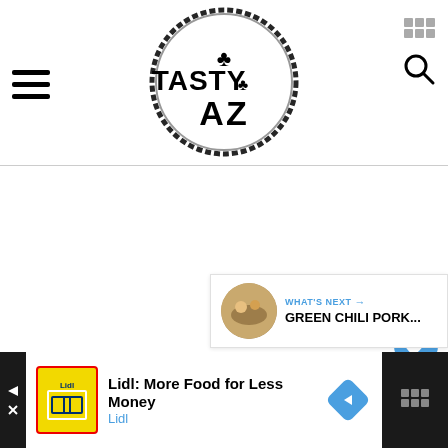[Figure (logo): Tasty AZ logo - circular stamp style logo with cactus icon and text TASTY AZ]
[Figure (screenshot): Heart/favorite button - blue circle with white heart icon]
[Figure (screenshot): Share button - white circle with share icon]
WHAT'S NEXT → GREEN CHILI PORK...
Lidl: More Food for Less Money
Lidl